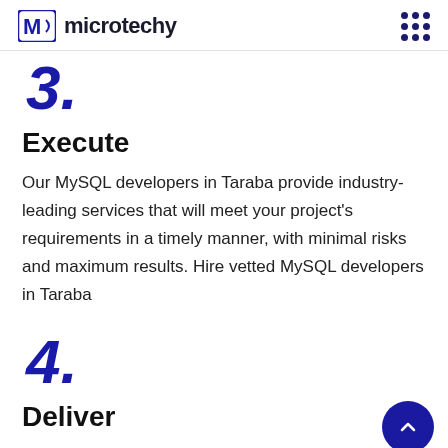microtechy
3.
Execute
Our MySQL developers in Taraba provide industry-leading services that will meet your project's requirements in a timely manner, with minimal risks and maximum results. Hire vetted MySQL developers in Taraba
4.
Deliver
Delivering software products consistently and correctly means that there will be less scope for error